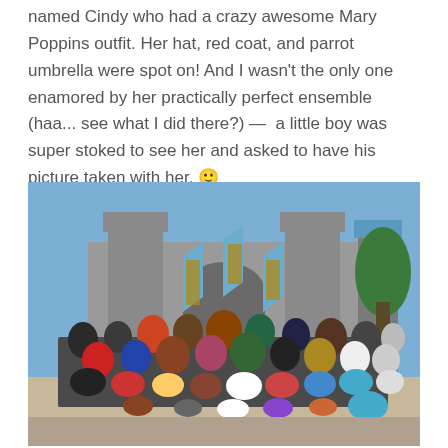named Cindy who had a crazy awesome Mary Poppins outfit. Her hat, red coat, and parrot umbrella were spot on! And I wasn't the only one enamored by her practically perfect ensemble (haa... see what I did there?) —  a little boy was super stoked to see her and asked to have his picture taken with her. 🙂
[Figure (photo): Large group photo of people in Disney costumes posing in front of Cinderella's Castle at Disneyland. The group includes dozens of adults and children wearing various Disney-themed outfits. Blue decorative banners hang on the castle towers in the background. Sunny day with blue sky visible.]